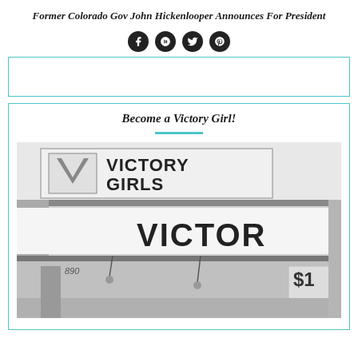Former Colorado Gov John Hickenlooper Announces For President
[Figure (illustration): Four social media icon circles (Facebook, Google+, Twitter, Pinterest) in black]
[Figure (other): Empty advertisement/widget box with teal border]
Become a Victory Girl!
[Figure (photo): Black and white photograph of a storefront or booth with 'Victory Girls' signage visible, showing two banner signs reading 'VICTORY GIRLS' and 'VICTOR' with a partial storefront below]